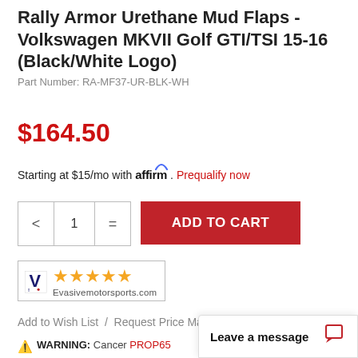Rally Armor Urethane Mud Flaps - Volkswagen MKVII Golf GTI/TSI 15-16 (Black/White Logo)
Part Number: RA-MF37-UR-BLK-WH
$164.50
Starting at $15/mo with affirm. Prequalify now
ADD TO CART
[Figure (logo): Evasive Motorsports logo with 5 orange stars rating badge]
Add to Wish List / Request Price Match
WARNING: Cancer ... PROP65 ...
Leave a message